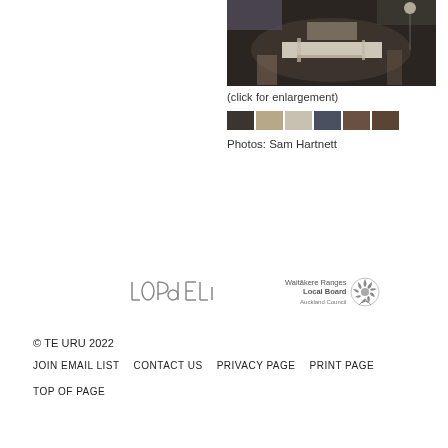[Figure (photo): Interior gallery/exhibition space photo showing a white table, chairs, studio lighting equipment, and projected images on a curved wall in a dark room]
(click for enlargement)
[Figure (photo): Six small thumbnail photos of the same or similar gallery exhibition space]
Photos: Sam Hartnett
[Figure (logo): Lopdell logo in grey stylized letters]
[Figure (logo): Waitākere Ranges Local Board Auckland Council logo with decorative flower/fern emblem]
© TE URU 2022
JOIN EMAIL LIST   CONTACT US   PRIVACY PAGE   PRINT PAGE
TOP OF PAGE